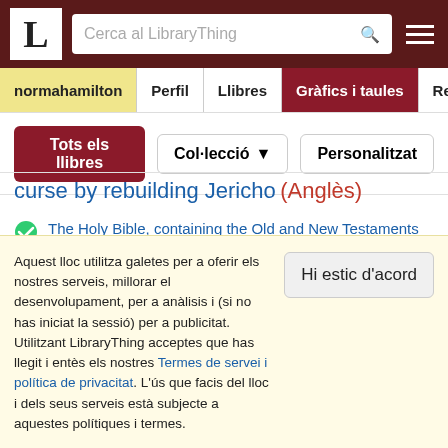LibraryThing - Cerca al LibraryThing
normahamilton | Perfil | Llibres | Gràfics i taules | Ressenye
Tots els llibres | Col·lecció | Personalitzat
curse by rebuilding Jericho (Anglès)
The Holy Bible, containing the Old and New Testaments translated out of the original tongues and with the former translations diligently compared and revised. King James version, 1611 (1 Kings 16:34,Joshua 6:26)
Aquest lloc utilitza galetes per a oferir els nostres serveis, millorar el desenvolupament, per a anàlisis i (si no has iniciat la sessió) per a publicitat. Utilitzant LibraryThing acceptes que has llegit i entès els nostres Termes de servei i política de privacitat. L'ús que facis del lloc i dels seus serveis està subjecte a aquestes polítiques i termes.